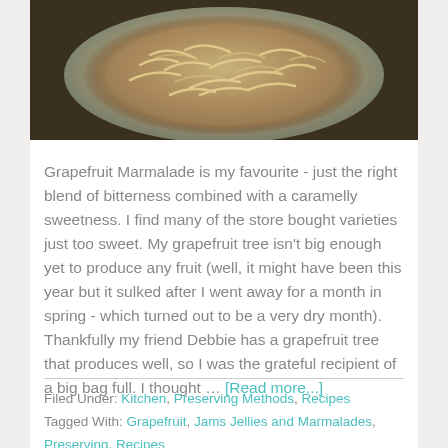[Figure (photo): Bowl containing sliced grapefruit peel or marmalade ingredients, viewed from above, yellowish-tan color]
Grapefruit Marmalade is my favourite - just the right blend of bitterness combined with a caramelly sweetness. I find many of the store bought varieties just too sweet. My grapefruit tree isn't big enough yet to produce any fruit (well, it might have been this year but it sulked after I went away for a month in spring - which turned out to be a very dry month). Thankfully my friend Debbie has a grapefruit tree that produces well, so I was the grateful recipient of a big bag full. I thought … [Read more...]
Filed Under: Kitchen, Preserving Methods, Recipes Tagged With: Grapefruit, Jams Jellies and Marmalades, Preserving, Recipes